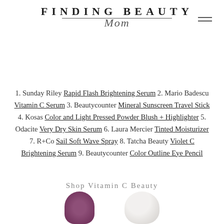FINDING BEAUTY Mom
1. Sunday Riley Rapid Flash Brightening Serum 2. Mario Badescu Vitamin C Serum 3. Beautycounter Mineral Sunscreen Travel Stick 4. Kosas Color and Light Pressed Powder Blush + Highlighter 5. Odacite Very Dry Skin Serum 6. Laura Mercier Tinted Moisturizer 7. R+Co Sail Soft Wave Spray 8. Tatcha Beauty Violet C Brightening Serum 9. Beautycounter Color Outline Eye Pencil
Shop Vitamin C Beauty
[Figure (photo): Two beauty product images partially visible at the bottom: a dark purple/burgundy tube on the left and a white/cream jar on the right]